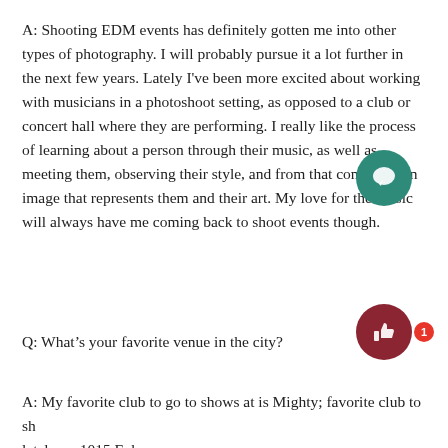A: Shooting EDM events has definitely gotten me into other types of photography. I will probably pursue it a lot further in the next few years. Lately I've been more excited about working with musicians in a photoshoot setting, as opposed to a club or concert hall where they are performing. I really like the process of learning about a person through their music, as well as meeting them, observing their style, and from that compiling an image that represents them and their art. My love for the music will always have me coming back to shoot events though.
Q: What's your favorite venue in the city?
A: My favorite club to go to shows at is Mighty; favorite club to sh… lately — 1015 Folsom.